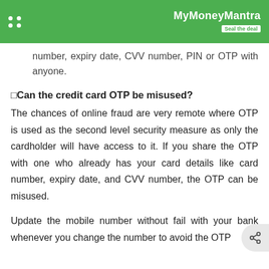MyMoneyMantra — Seal the deal
number, expiry date, CVV number, PIN or OTP with anyone.
🔲Can the credit card OTP be misused?
The chances of online fraud are very remote where OTP is used as the second level security measure as only the cardholder will have access to it. If you share the OTP with one who already has your card details like card number, expiry date, and CVV number, the OTP can be misused.
Update the mobile number without fail with your bank whenever you change the number to avoid the OTP being sent to the wrong number.